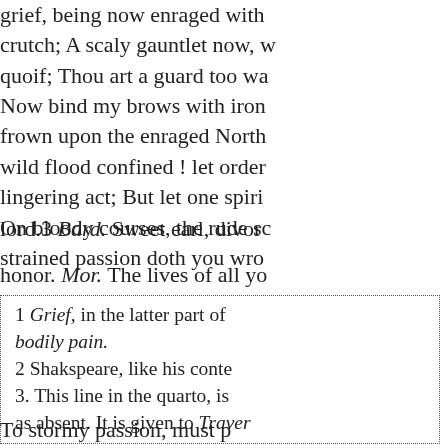grief, being now enraged with
crutch; A scaly gauntlet now, w
quoif; Thou art a guard too wa
Now bind my brows with iron
frown upon the enraged North
wild flood confined ! let order
lingering act; But let one spiri
On bloody courses, the rude sc
strained passion doth you wro
lord.3 Bard. Sweet earl, divor
honor. Mor. The lives of all yo
1 Grief, in the latter part of
bodily pain.
2 Shakspeare, like his conte
3. This line in the quarto, is
as absent. It is given to Traver
To stormy passion, must p
You cast the event of war
And summed the accoun